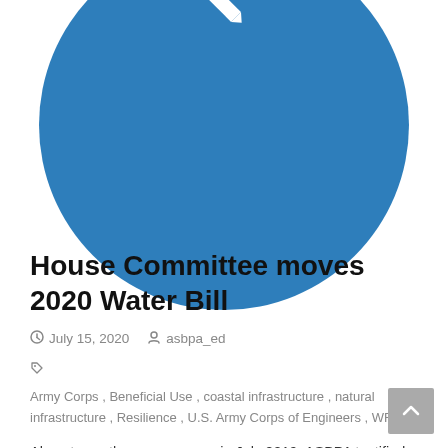[Figure (illustration): Blue circle with a white pencil/edit icon in the upper portion]
House Committee moves 2020 Water Bill
July 15, 2020   asbpa_ed
Army Corps, Beneficial Use, coastal infrastructure, natural infrastructure, Resilience, U.S. Army Corps of Engineers, WRDA
Almost exactly one year ago, in July 2019, ASBPA testified before the House Transportation & Infrastructure Committee on the need to develop water resources legislation that would advance Regional Sediment